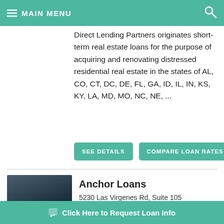MAIN MENU
Direct Lending Partners originates short-term real estate loans for the purpose of acquiring and renovating distressed residential real estate in the states of AL, CO, CT, DC, DE, FL, GA, ID, IL, IN, KS, KY, LA, MD, MO, NC, NE, ...
SEE DETAILS | COMPARE LOAN RATES
Anchor Loans
5230 Las Virgenes Rd, Suite 105 Calabasas, CA 91302
(26)
Click Here to Request Loan Info